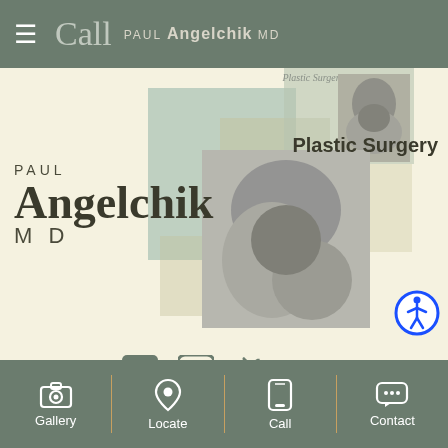Call  PAUL Angelchik MD
[Figure (photo): Close-up black and white photo of neck/shoulder area (small, top right)]
[Figure (photo): Close-up black and white photo of neck/shoulder/hand area (large, center)]
Plastic Surgery
PAUL Angelchik MD
Plastic Surgery
Locate: Glendale, AZ
Gallery  Locate  Call  Contact